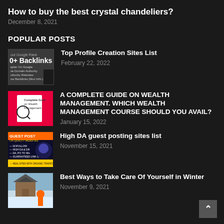How to buy the best crystal chandeliers?
December 8, 2021
POPULAR POSTS
[Figure (photo): Thumbnail image showing backlinks promotional graphic with '0+ Backlinks' text]
Top Profile Creation Sites List
February 22, 2022
[Figure (photo): Pink/red thumbnail showing 'Complete Guide on Wealth Management' with a magnifying glass graphic]
A COMPLETE GUIDE ON WEALTH MANAGEMENT. WHICH WEALTH MANAGEMENT COURSE SHOULD YOU AVAIL?
January 15, 2022
[Figure (photo): Dark thumbnail showing 'GUEST POST' with bullet points about dofollow links and high DA]
High DA guest posting sites list
November 15, 2021
[Figure (photo): Winter scene thumbnail showing a snowy cabin and a person in an orange jacket]
Best Ways to Take Care Of Yourself in Winter
November 9, 2021